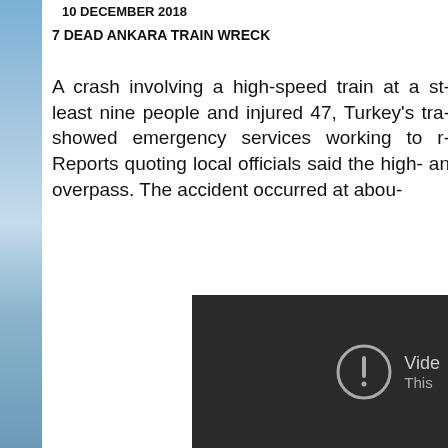10 DECEMBER 2018
7 DEAD ANKARA TRAIN WRECK
A crash involving a high-speed train at a st- least nine people and injured 47, Turkey's tra- showed emergency services working to r- Reports quoting local officials said the high- an overpass. The accident occurred at abou-
[Figure (screenshot): Dark video player with error icon and 'Vide- This' text indicating an unavailable video]